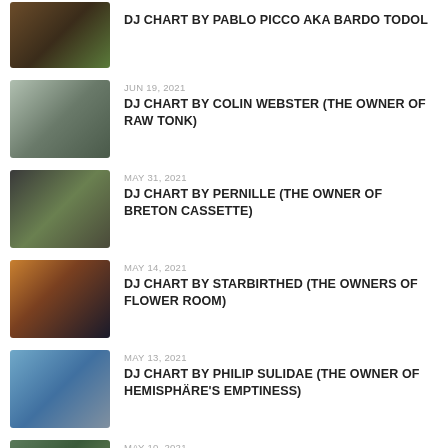[Figure (photo): Thumbnail photo for DJ Chart by Pablo Picco aka Bardo Todol]
DJ CHART BY PABLO PICCO AKA BARDO TODOL
[Figure (photo): Thumbnail photo for DJ Chart by Colin Webster]
JUN 19, 2021
DJ CHART BY COLIN WEBSTER (THE OWNER OF RAW TONK)
[Figure (photo): Thumbnail photo for DJ Chart by Pernille]
MAY 31, 2021
DJ CHART BY PERNILLE (THE OWNER OF BRETON CASSETTE)
[Figure (photo): Thumbnail photo for DJ Chart by Starbirthed]
MAY 14, 2021
DJ CHART BY STARBIRTHED (THE OWNERS OF FLOWER ROOM)
[Figure (photo): Thumbnail photo for DJ Chart by Philip Sulidae]
MAY 13, 2021
DJ CHART BY PHILIP SULIDAE (THE OWNER OF HEMISPHÄRE'S EMPTINESS)
[Figure (photo): Thumbnail photo for DJ Chart by Glyn Maier aka Lack]
MAY 10, 2021
DJ CHART BY GLYN MAIER AKA LACK (THE OWNER OF ENMOSSED)